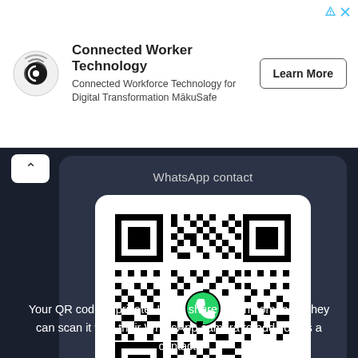[Figure (screenshot): Ad banner with MakuSafe logo (Connected Worker Technology), description text, and Learn More button. Top-right shows ad icon and X button.]
WhatsApp contact
[Figure (other): QR code with WhatsApp phone icon in the center, on white background with rounded corners, inside a dark card panel.]
Your QR code is private. If you share it with someone, they can scan it with their WhatsApp camera to add you as a contact.